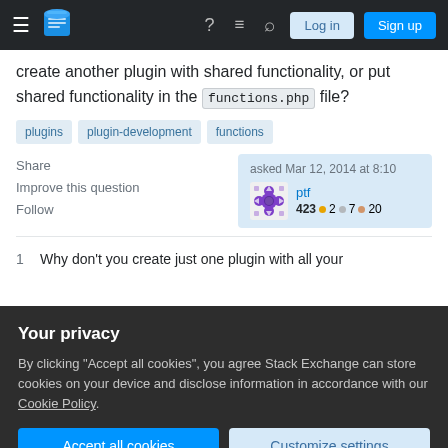Stack Exchange navigation bar with hamburger, logo, help, chat, search icons, Log in and Sign up buttons
create another plugin with shared functionality, or put shared functionality in the functions.php file?
plugins
plugin-development
functions
Share
Improve this question
Follow
asked Mar 12, 2014 at 8:10
ptf 423 ●2 ●7 ●20
1  Why don't you create just one plugin with all your
Your privacy
By clicking "Accept all cookies", you agree Stack Exchange can store cookies on your device and disclose information in accordance with our Cookie Policy.
Accept all cookies
Customize settings
because they are common to other plugins and putting